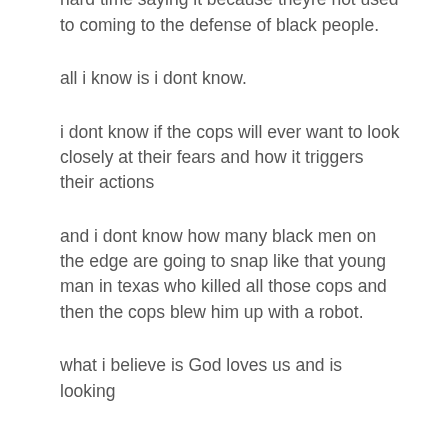crazy opinion coming at ya: theyre having a hard time saying it because theyre not used to coming to the defense of black people.
all i know is i dont know.
i dont know if the cops will ever want to look closely at their fears and how it triggers their actions
and i dont know how many black men on the edge are going to snap like that young man in texas who killed all those cops and then the cops blew him up with a robot.
what i believe is God loves us and is looking